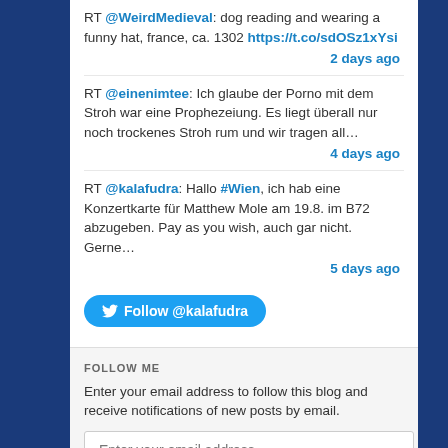RT @WeirdMedieval: dog reading and wearing a funny hat, france, ca. 1302 https://t.co/sdOSz1xYsi
2 days ago
RT @einenimtee: Ich glaube der Porno mit dem Stroh war eine Prophezeiung. Es liegt überall nur noch trockenes Stroh rum und wir tragen all…
4 days ago
RT @kalafudra: Hallo #Wien, ich hab eine Konzertkarte für Matthew Mole am 19.8. im B72 abzugeben. Pay as you wish, auch gar nicht. Gerne…
5 days ago
Follow @kalafudra
FOLLOW ME
Enter your email address to follow this blog and receive notifications of new posts by email.
Enter your email address